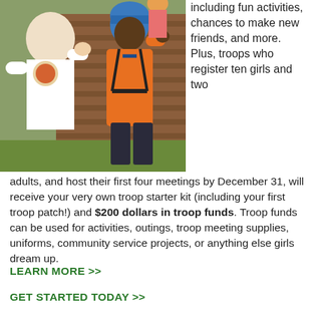[Figure (photo): Two people at a climbing wall activity. One person wearing a white t-shirt with logos assists another person wearing an orange long-sleeve shirt and blue helmet with a black harness, both high-fiving near a wooden climbing wall outdoors.]
including fun activities, chances to make new friends, and more. Plus, troops who register ten girls and two adults, and host their first four meetings by December 31, will receive your very own troop starter kit (including your first troop patch!) and $200 dollars in troop funds. Troop funds can be used for activities, outings, troop meeting supplies, uniforms, community service projects, or anything else girls dream up.
LEARN MORE >>
GET STARTED TODAY >>